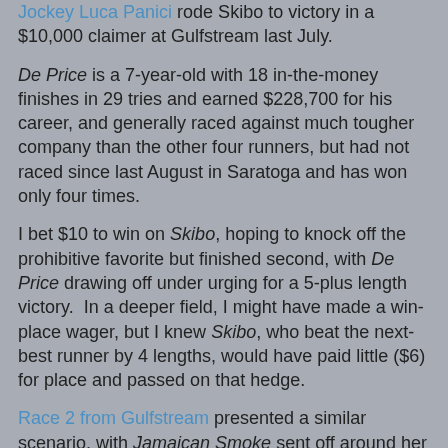Jockey Luca Panici rode Skibo to victory in a $10,000 claimer at Gulfstream last July.
De Price is a 7-year-old with 18 in-the-money finishes in 29 tries and earned $228,700 for his career, and generally raced against much tougher company than the other four runners, but had not raced since last August in Saratoga and has won only four times.
I bet $10 to win on Skibo, hoping to knock off the prohibitive favorite but finished second, with De Price drawing off under urging for a 5-plus length victory. In a deeper field, I might have made a win-place wager, but I knew Skibo, who beat the next-best runner by 4 lengths, would have paid little ($6) for place and passed on that hedge.
Race 2 from Gulfstream presented a similar scenario, with Jamaican Smoke sent off around her 8-to-5 morning line in an 8-horse optional claimer worth $62,000, but two other low-priced horses (3-to-1 Bear Tough Tiger and 4-to-1 Positively) made some sense.
Narvaez, off an 8-month rest and a fourth-place finisher in